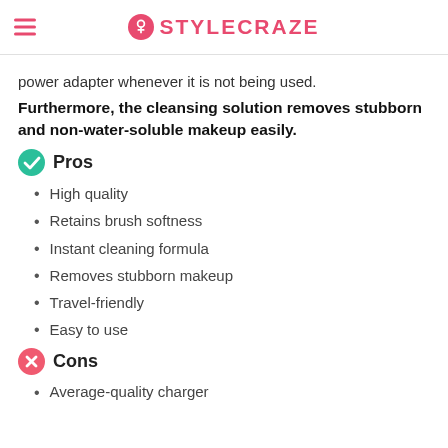STYLECRAZE
power adapter whenever it is not being used.
Furthermore, the cleansing solution removes stubborn and non-water-soluble makeup easily.
Pros
High quality
Retains brush softness
Instant cleaning formula
Removes stubborn makeup
Travel-friendly
Easy to use
Cons
Average-quality charger